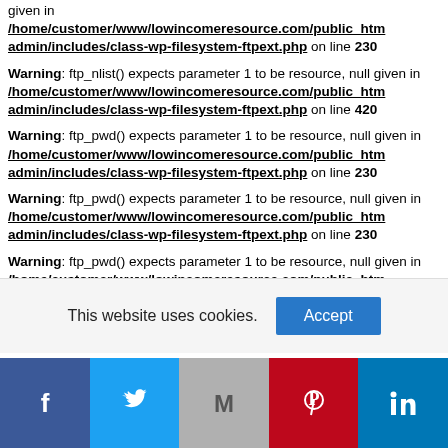given in /home/customer/www/lowincomeresource.com/public_html/wp-admin/includes/class-wp-filesystem-ftpext.php on line 230
Warning: ftp_nlist() expects parameter 1 to be resource, null given in /home/customer/www/lowincomeresource.com/public_html/wp-admin/includes/class-wp-filesystem-ftpext.php on line 420
Warning: ftp_pwd() expects parameter 1 to be resource, null given in /home/customer/www/lowincomeresource.com/public_html/wp-admin/includes/class-wp-filesystem-ftpext.php on line 230
Warning: ftp_pwd() expects parameter 1 to be resource, null given in /home/customer/www/lowincomeresource.com/public_html/wp-admin/includes/class-wp-filesystem-ftpext.php on line 230
Warning: ftp_pwd() expects parameter 1 to be resource, null given in /home/customer/www/lowincomeresource.com/public_html/htm...
This website uses cookies.
[Figure (infographic): Social share buttons: Facebook, Twitter, Gmail/Google, Pinterest, LinkedIn]